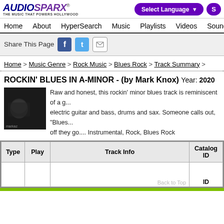[Figure (logo): AudioSparx logo with tagline 'THE MUSIC THAT POWERS HOLLYWOOD']
Select Language | Search button
Home  About  HyperSearch  Music  Playlists  Videos  Sound
Share This Page [Facebook] [Twitter] [Email]
Home > Music Genre > Rock Music > Blues Rock > Track Summary >
ROCKIN' BLUES IN A-MINOR - (by Mark Knox)  Year: 2020
Raw and honest, this rockin' minor blues track is reminiscent of a g... electric guitar and bass, drums and sax. Someone calls out, "Blues... off they go.... Instrumental, Rock, Blues Rock
| Type | Play | Track Info | Catalog ID |
| --- | --- | --- | --- |
|  |  |  | Back to Top |